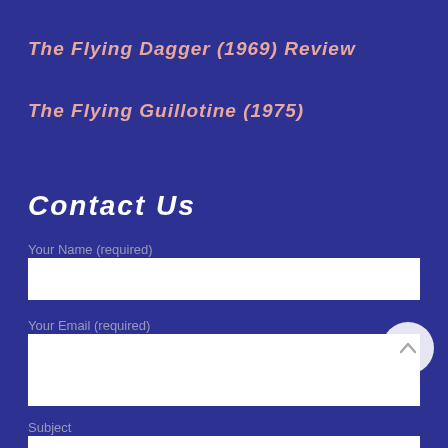The Flying Dagger (1969) Review
The Flying Guillotine (1975)
Contact Us
Your Name (required)
Your Email (required)
Subject